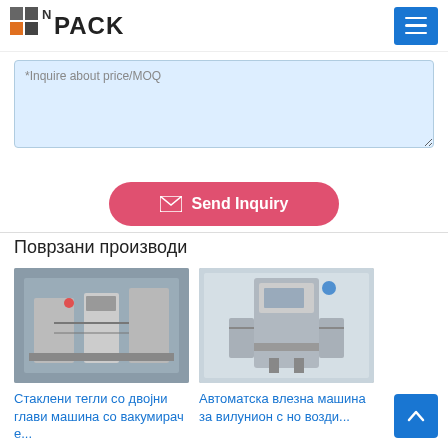N PACK
*Inquire about price/MOQ
Send Inquiry
Поврзани производи
[Figure (photo): Industrial glass jar filling machine with double heads]
Стаклени тегли со двојни глави машина со вакумирач е...
[Figure (photo): Automatic inline capping machine for bottles]
Автоматска влезна машина за вилунион с но возди...